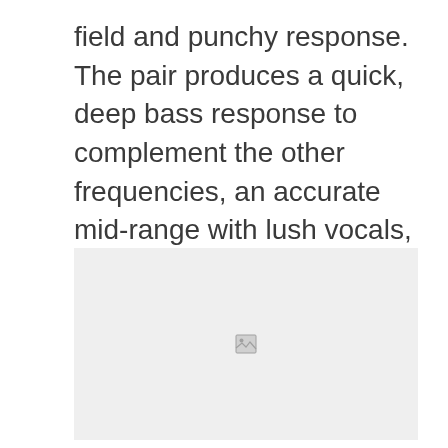field and punchy response. The pair produces a quick, deep bass response to complement the other frequencies, an accurate mid-range with lush vocals, and a smooth, non-fatiguing yet highly detailed treble frequency response.
[Figure (photo): Image placeholder with a broken image icon indicating a missing or unloaded photo.]